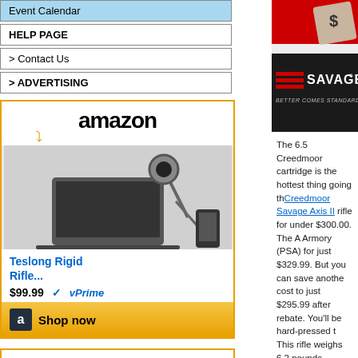Event Calendar
HELP PAGE
> Contact Us
> ADVERTISING
[Figure (other): Amazon advertisement for Teslong Rigid Rifle scope inspection camera, $99.99, with Prime logo and Shop now button]
[Figure (other): Second Amazon advertisement partial view]
[Figure (photo): Savage Arms advertisement image with dollar sign cash graphic and Savage logo, Better Comes Standard tagline]
The 6.5 Creedmoor cartridge is the hottest thing going th... Creedmoor Savage Axis II rifle for under $300.00. The A... Armory (PSA) for just $329.99. But you can save anothe... cost to just $295.99 after rebate. You'll be hard-pressed t... This rifle weighs 6.2 pounds (before optics) with 20", 1:8"-...
2. Precision Reloading — FREE H
[Figure (photo): Free Handloading promotion - Alliant powder advertisement. FREE HA... ALLIANT... PURCHASE $125... OR MORE OF]